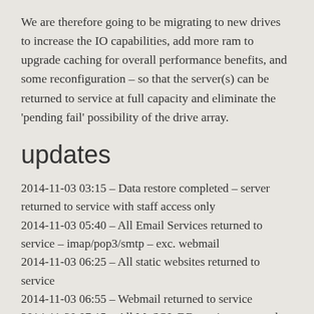We are therefore going to be migrating to new drives to increase the IO capabilities, add more ram to upgrade caching for overall performance benefits, and some reconfiguration – so that the server(s) can be returned to service at full capacity and eliminate the 'pending fail' possibility of the drive array.
updates
2014-11-03 03:15 – Data restore completed – server returned to service with staff access only
2014-11-03 05:40 – All Email Services returned to service – imap/pop3/smtp – exc. webmail
2014-11-03 06:25 – All static websites returned to service
2014-11-03 06:55 – Webmail returned to service
2014-11-30 07:15 – All MySQL DB services returned to